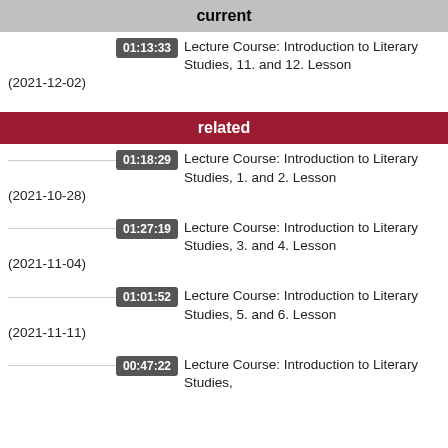current
01:13:33  Lecture Course: Introduction to Literary Studies, 11. and 12. Lesson (2021-12-02)
related
01:18:29  Lecture Course: Introduction to Literary Studies, 1. and 2. Lesson (2021-10-28)
01:27:19  Lecture Course: Introduction to Literary Studies, 3. and 4. Lesson (2021-11-04)
01:01:52  Lecture Course: Introduction to Literary Studies, 5. and 6. Lesson (2021-11-11)
00:47:22  Lecture Course: Introduction to Literary Studies, 7. and 8. Lesson